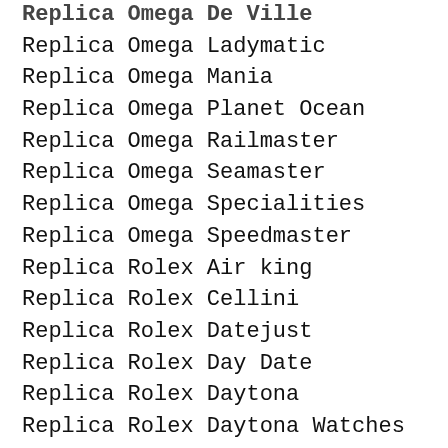Replica Omega De Ville
Replica Omega Ladymatic
Replica Omega Mania
Replica Omega Planet Ocean
Replica Omega Railmaster
Replica Omega Seamaster
Replica Omega Specialities
Replica Omega Speedmaster
Replica Rolex Air king
Replica Rolex Cellini
Replica Rolex Datejust
Replica Rolex Day Date
Replica Rolex Daytona
Replica Rolex Daytona Watches
Replica Rolex Explorer
Replica Rolex GMT
Replica Rolex Information
Replica Rolex Milgauss
Replica Rolex Oyster perpetual